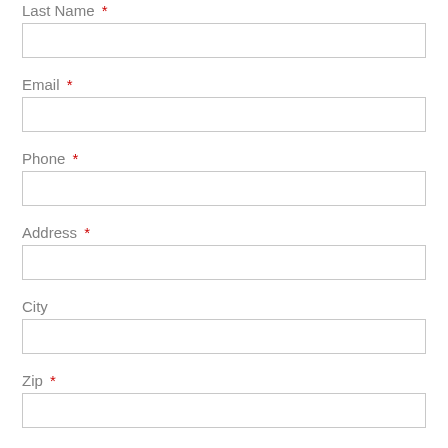Last Name *
Email *
Phone *
Address *
City
Zip *
Repair Type *